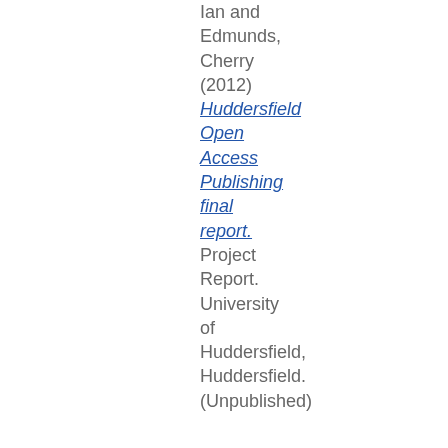Ian and Edmunds, Cherry (2012) Huddersfield Open Access Publishing final report. Project Report. University of Huddersfield, Huddersfield. (Unpublished)
Stone, Graham, White, S...